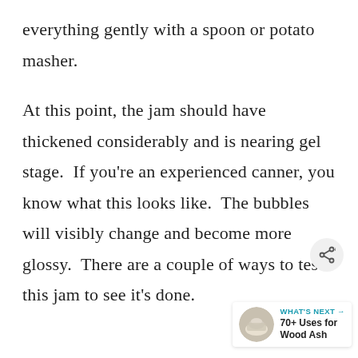everything gently with a spoon or potato masher.
At this point, the jam should have thickened considerably and is nearing gel stage.  If you're an experienced canner, you know what this looks like.  The bubbles will visibly change and become more glossy.  There are a couple of ways to test this jam to see it's done.
[Figure (other): Share button icon (circular with share symbol)]
[Figure (other): What's Next widget showing a thumbnail image of wood ash and the text '70+ Uses for Wood Ash']